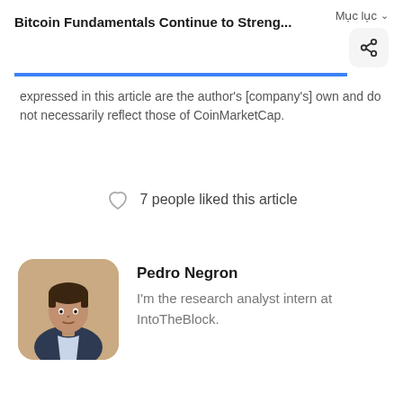Bitcoin Fundamentals Continue to Streng...  Mục lục
expressed in this article are the author's [company's] own and do not necessarily reflect those of CoinMarketCap.
7 people liked this article
Pedro Negron
I'm the research analyst intern at IntoTheBlock.